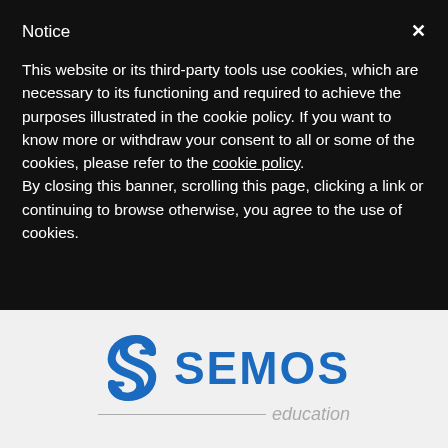Notice
This website or its third-party tools use cookies, which are necessary to its functioning and required to achieve the purposes illustrated in the cookie policy. If you want to know more or withdraw your consent to all or some of the cookies, please refer to the cookie policy.
By closing this banner, scrolling this page, clicking a link or continuing to browse otherwise, you agree to the use of cookies.
[Figure (logo): Semos Education logo: blue stylized S icon followed by SEMOS in bold blue text, with a horizontal rule and 'education' in grey italic below]